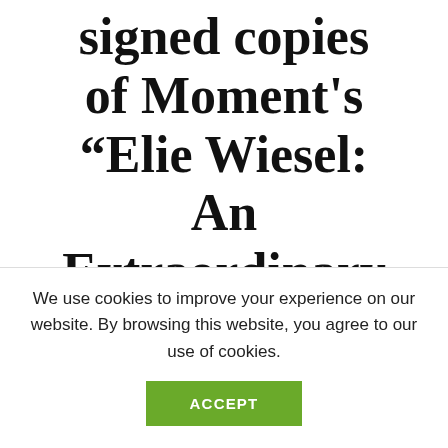signed copies of Moment's “Elie Wiesel: An Extraordinary Life and
We use cookies to improve your experience on our website. By browsing this website, you agree to our use of cookies.
ACCEPT